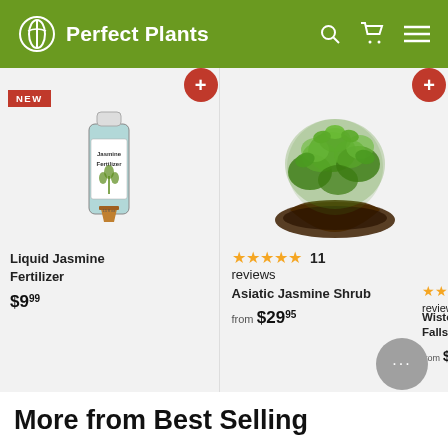Perfect Plants
[Figure (screenshot): Product card: Liquid Jasmine Fertilizer bottle with NEW badge, price $9.99]
[Figure (screenshot): Product card: Asiatic Jasmine Shrub plant, 5 stars, 11 reviews, from $29.95]
[Figure (screenshot): Product card: Wisteria Falls (partially visible), best seller badge, from $2...]
More from Best Selling